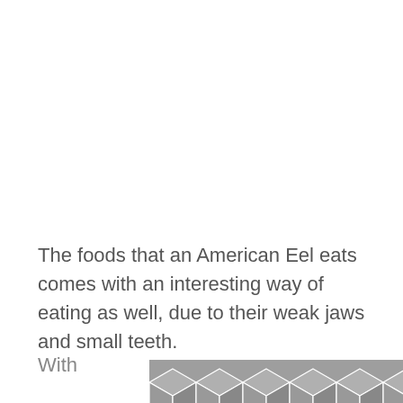The foods that an American Eel eats comes with an interesting way of eating as well, due to their weak jaws and small teeth.
With...
[Figure (illustration): Hexagonal geometric pattern in gray tones, partially visible at the bottom of the page.]